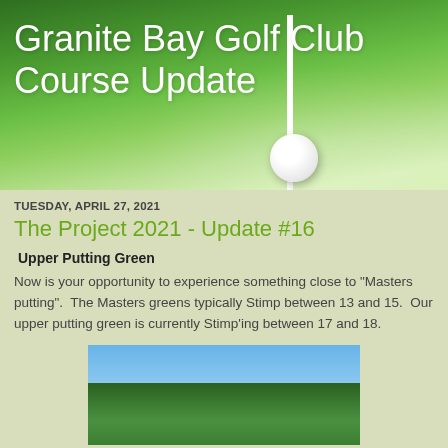Granite Bay Golf Club Course Update
TUESDAY, APRIL 27, 2021
The Project 2021 - Update #16
Upper Putting Green
Now is your opportunity to experience something close to "Masters putting".  The Masters greens typically Stimp between 13 and 15.  Our upper putting green is currently Stimp'ing between 17 and 18.
[Figure (photo): Outdoor photo showing trees against a blue sky, likely the upper putting green area at Granite Bay Golf Club]